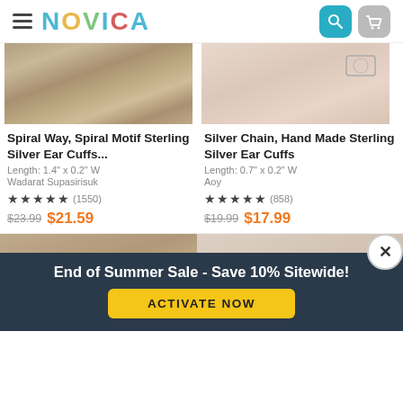NOVICA
[Figure (screenshot): Product image of Spiral Way earring - wood texture background]
Spiral Way, Spiral Motif Sterling Silver Ear Cuffs...
Length: 1.4" x 0.2" W
Wadarat Supasirisuk
★★★★★ (1550)
$23.99  $21.59
[Figure (screenshot): Product image of Silver Chain ear cuffs on pink background]
Silver Chain, Hand Made Sterling Silver Ear Cuffs
Length: 0.7" x 0.2" W
Aoy
★★★★★ (858)
$19.99  $17.99
[Figure (screenshot): Bottom row product images, partially visible]
End of Summer Sale - Save 10% Sitewide!
ACTIVATE NOW